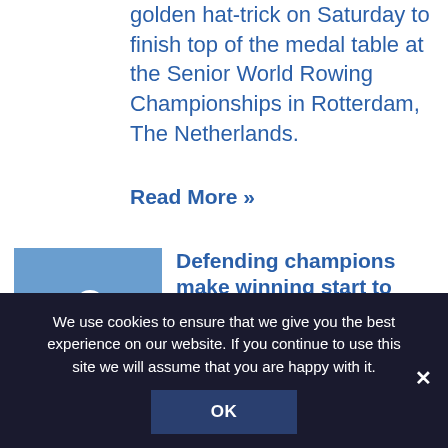golden hat-trick on Saturday to finish top of the medal table at the Senior World Rowing Championships in Rotterdam, The Netherlands.
Read More »
[Figure (photo): Two rowers in white and red uniforms sitting in a yellow rowing boat on water]
Defending champions make winning start to Senior Worlds
Big gusts of wind were unable to prevent GB Rowing Team's defending champions making smooth progress on Monday afternoon as the Senior World Championships got under
We use cookies to ensure that we give you the best experience on our website. If you continue to use this site we will assume that you are happy with it.
OK